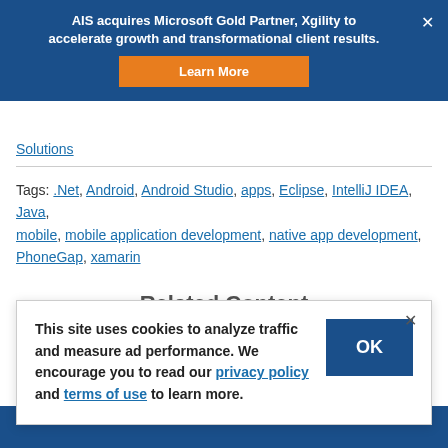AIS acquires Microsoft Gold Partner, Xgility to accelerate growth and transformational client results. Learn More
Solutions
Tags: .Net, Android, Android Studio, apps, Eclipse, IntelliJ IDEA, Java, mobile, mobile application development, native app development, PhoneGap, xamarin
Related Content
This site uses cookies to analyze traffic and measure ad performance. We encourage you to read our privacy policy and terms of use to learn more.